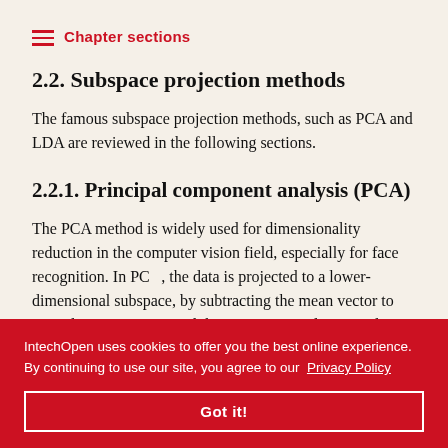Chapter sections
2.2. Subspace projection methods
The famous subspace projection methods, such as PCA and LDA are reviewed in the following sections.
2.2.1. Principal component analysis (PCA)
The PCA method is widely used for dimensionality reduction in the computer vision field, especially for face recognition. In PCA, the data is projected to a lower-dimensional subspace, by subtracting the mean vector to centralize the data around the origin. Several principal components represent the variability of the image as possible while the second one represents
IntechOpen uses cookies to offer you the best online experience. By continuing to use our site, you agree to our Privacy Policy
Got it!